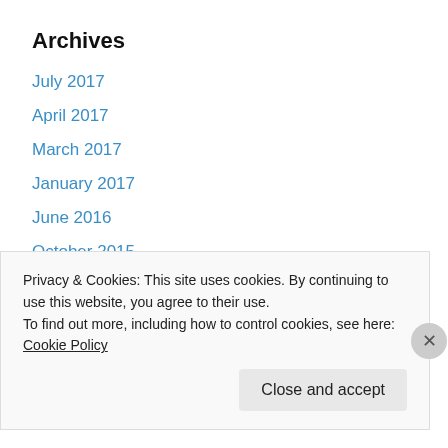Archives
July 2017
April 2017
March 2017
January 2017
June 2016
October 2015
August 2015
July 2015
May 2015
April 2015
March 2015
Privacy & Cookies: This site uses cookies. By continuing to use this website, you agree to their use.
To find out more, including how to control cookies, see here: Cookie Policy